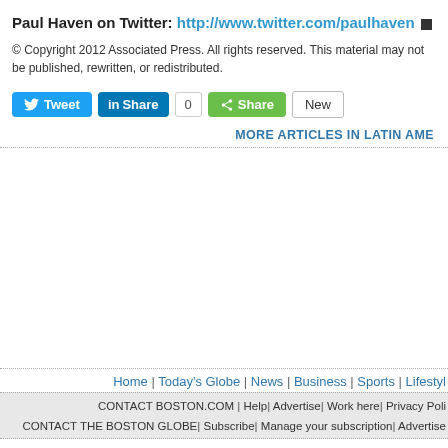Paul Haven on Twitter: http://www.twitter.com/paulhaven ■
© Copyright 2012 Associated Press. All rights reserved. This material may not be published, rewritten, or redistributed.
[Figure (screenshot): Social sharing buttons: Tweet (Twitter), Share (LinkedIn) with count 0, Share (ShareThis green button), New button]
MORE ARTICLES IN LATIN AME...
Home | Today's Globe | News | Business | Sports | Lifestyl...
CONTACT BOSTON.COM | Help | Advertise | Work here | Privacy Poli... CONTACT THE BOSTON GLOBE | Subscribe | Manage your subscription | Advertise...